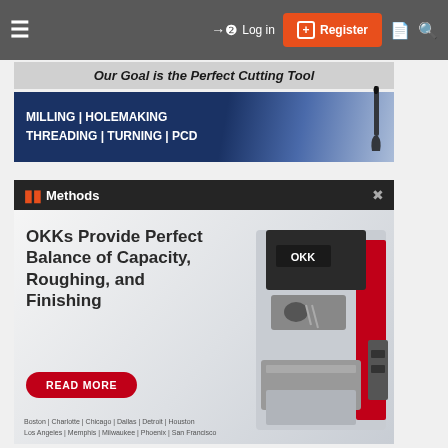≡  → Log in  [+] Register  🗎  🔍
[Figure (screenshot): Advertisement banner: 'Our Goal is the Perfect Cutting Tool' with categories: MILLING | HOLEMAKING | THREADING | TURNING | PCD on dark blue background with cutting tool image]
[Figure (screenshot): Advertisement for Methods Machine Tools featuring OKK machines. Headline: 'OKKs Provide Perfect Balance of Capacity, Roughing, and Finishing' with READ MORE button. Cities listed: Boston | Charlotte | Chicago | Dallas | Detroit | Houston | Los Angeles | Memphis | Milwaukee | Phoenix | San Francisco]